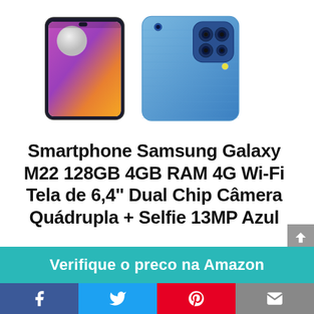[Figure (photo): Samsung Galaxy M22 smartphone shown from front (display with colorful wallpaper) and back (blue textured back with quad camera module), side by side]
Smartphone Samsung Galaxy M22 128GB 4GB RAM 4G Wi-Fi Tela de 6,4'' Dual Chip Câmera Quádrupla + Selfie 13MP Azul
Verifique o preco na Amazon
Social share bar: Facebook, Twitter, Pinterest, Email